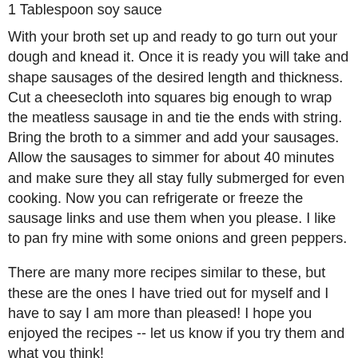1 Tablespoon soy sauce
With your broth set up and ready to go turn out your dough and knead it. Once it is ready you will take and shape sausages of the desired length and thickness. Cut a cheesecloth into squares big enough to wrap the meatless sausage in and tie the ends with string. Bring the broth to a simmer and add your sausages. Allow the sausages to simmer for about 40 minutes and make sure they all stay fully submerged for even cooking. Now you can refrigerate or freeze the sausage links and use them when you please. I like to pan fry mine with some onions and green peppers.
There are many more recipes similar to these, but these are the ones I have tried out for myself and I have to say I am more than pleased! I hope you enjoyed the recipes -- let us know if you try them and what you think!